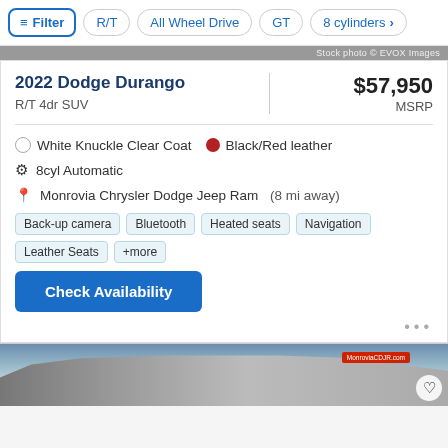Filter | R/T | All Wheel Drive | GT | 8 cylinders
2022 Dodge Durango
R/T 4dr SUV
$57,950 MSRP
White Knuckle Clear Coat  ●  Black/Red leather
8cyl Automatic
Monrovia Chrysler Dodge Jeep Ram (8 mi away)
Back-up camera
Bluetooth
Heated seats
Navigation
Leather Seats
+more
Check Availability
[Figure (photo): Bottom portion of a Dodge Durango SUV photo at a dealership lot]